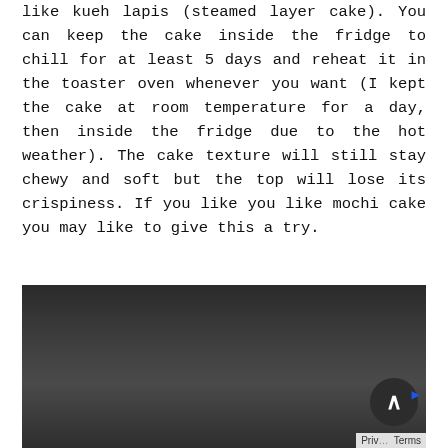like kueh lapis (steamed layer cake). You can keep the cake inside the fridge to chill for at least 5 days and reheat it in the toaster oven whenever you want (I kept the cake at room temperature for a day, then inside the fridge due to the hot weather). The cake texture will still stay chewy and soft but the top will lose its crispiness. If you like you like mochi cake you may like to give this a try.
[Figure (photo): A dark photograph, mostly black/dark grey tones, possibly showing a food item or scene in low light. A circular chat/scroll-to-top button with an upward arrow is visible in the lower right corner, along with a partial 'Privacy · Terms' bar.]